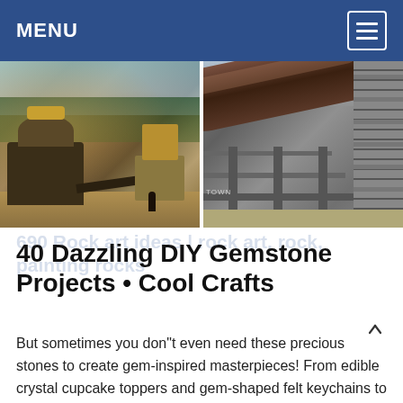MENU
[Figure (photo): Two industrial/mining site photos side by side: left shows heavy machinery and conveyor equipment outdoors with trees in background; right shows a large diagonal pipe/tube structure with industrial tower scaffolding.]
40 Dazzling DIY Gemstone Projects • Cool Crafts
But sometimes you don"t even need these precious stones to create gem-inspired masterpieces! From edible crystal cupcake toppers and gem-shaped felt keychains to dazzling drawer handles and magical magnets. This is the biggest gemstone DIY project round-up on the Internet, so there"s sure to be something you"ll want to make this